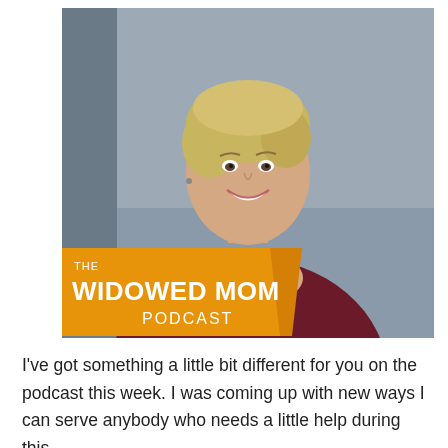[Figure (photo): Professional photo of a smiling blonde woman in a dark burgundy/maroon top, with hands clasped under chin, seated against a gray background. An orange banner overlay in the lower left reads 'THE WIDOWED MOM PODCAST'.]
I've got something a little bit different for you on the podcast this week. I was coming up with new ways I can serve anybody who needs a little help during this